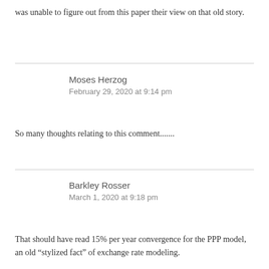was unable to figure out from this paper their view on that old story.
Moses Herzog
February 29, 2020 at 9:14 pm
So many thoughts relating to this comment.......
Barkley Rosser
March 1, 2020 at 9:18 pm
That should have read 15% per year convergence for the PPP model, an old “stylized fact” of exchange rate modeling.